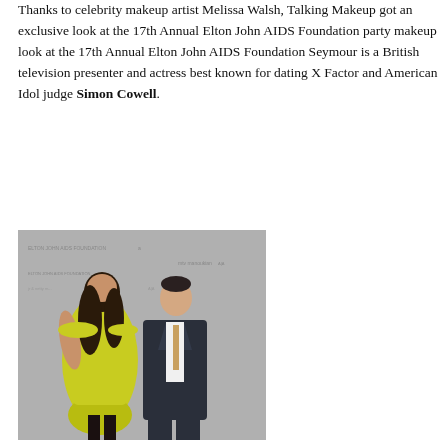Thanks to celebrity makeup artist Melissa Walsh, Talking Makeup got an exclusive look at the 17th Annual Elton John AIDS Foundation party makeup look. Seymour is a British television presenter and actress best known for dating X Factor and American Idol judge Simon Cowell.
[Figure (photo): A woman in a yellow-green off-shoulder satin dress and a man in a dark suit standing in front of an Elton John AIDS Foundation event backdrop with sponsor logos.]